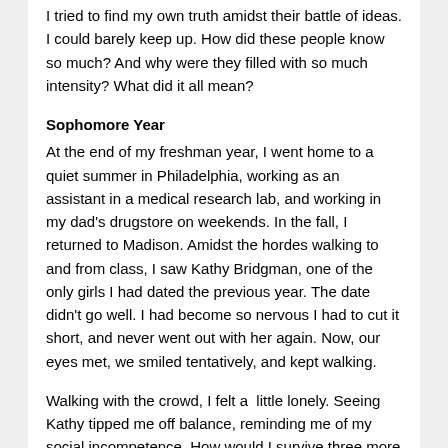I tried to find my own truth amidst their battle of ideas. I could barely keep up. How did these people know so much? And why were they filled with so much intensity? What did it all mean?
Sophomore Year
At the end of my freshman year, I went home to a quiet summer in Philadelphia, working as an assistant in a medical research lab, and working in my dad's drugstore on weekends. In the fall, I returned to Madison. Amidst the hordes walking to and from class, I saw Kathy Bridgman, one of the only girls I had dated the previous year. The date didn't go well. I had become so nervous I had to cut it short, and never went out with her again. Now, our eyes met, we smiled tentatively, and kept walking.
Walking with the crowd, I felt a  little lonely. Seeing Kathy tipped me off balance, reminding me of my social incompetence. How would I survive three more years?
Junior Year
A year later, in the fall of 1967, my hair in a frizzy mop,